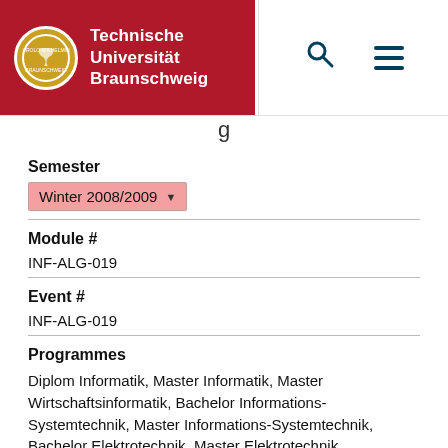[Figure (logo): Technische Universität Braunschweig logo with red background, circular emblem, and white text]
g
Semester
Winter 2008/2009
Module #
INF-ALG-019
Event #
INF-ALG-019
Programmes
Diplom Informatik, Master Informatik, Master Wirtschaftsinformatik, Bachelor Informations-Systemtechnik, Master Informations-Systemtechnik, Bachelor Elektrotechnik, Master Elektrotechnik,